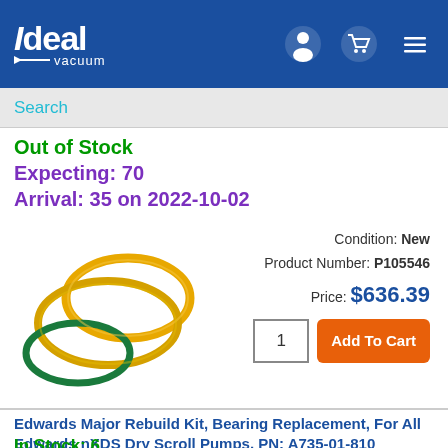Ideal Vacuum
Search
Out of Stock
Expecting: 70
Arrival: 35 on 2022-10-02
[Figure (photo): O-rings: two yellow/gold O-rings and one dark green O-ring overlapping on white background]
Condition: New
Product Number: P105546
Price: $636.39
Edwards Major Rebuild Kit, Bearing Replacement, For All Edwards nXDS Dry Scroll Pumps, PN: A735-01-810
In Stock: 6